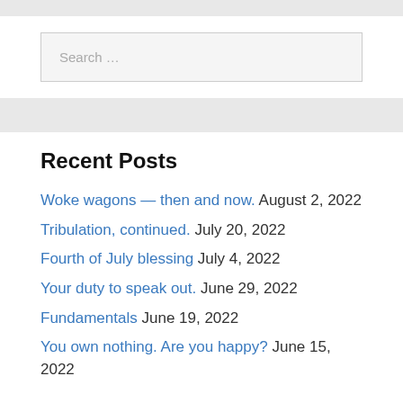Search …
Recent Posts
Woke wagons — then and now. August 2, 2022
Tribulation, continued. July 20, 2022
Fourth of July blessing July 4, 2022
Your duty to speak out. June 29, 2022
Fundamentals June 19, 2022
You own nothing. Are you happy? June 15, 2022